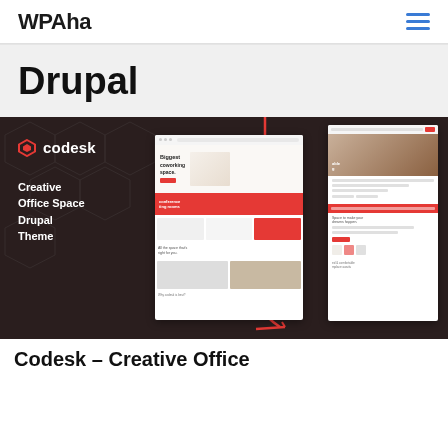WPAha
Drupal
[Figure (screenshot): Codesk Creative Office Space Drupal Theme promotional banner showing dark background with logo and multiple website mockup screenshots with red annotation lines]
Codesk – Creative Office